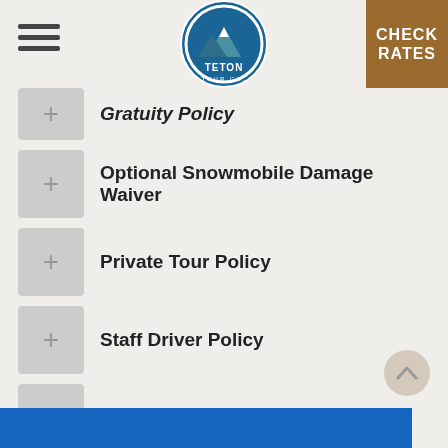TETON TOUR CO. | CHECK RATES
Gratuity Policy
Optional Snowmobile Damage Waiver
Private Tour Policy
Staff Driver Policy
Snowmobile Minimum Policy
Will we go snowmobiling if it snows?